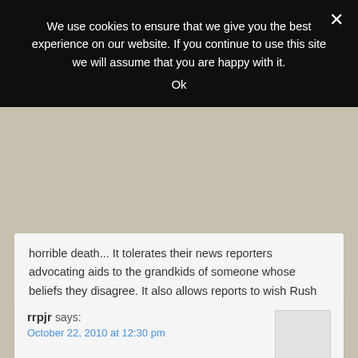We use cookies to ensure that we give you the best experience on our website. If you continue to use this site we will assume that you are happy with it.
Ok
horrible death... It tolerates their news reporters advocating aids to the grandkids of someone whose beliefs they disagree. It also allows reports to wish Rush would die. It is OK by NPR to wish death to their American citizens but NOT OK to talk with Americans with whom NPR disagrees. What a bunch of lily-livered creeps.
rrpjr says:
October 22, 2010 at 12:30 pm
Just a lot of defensive cerebrations by